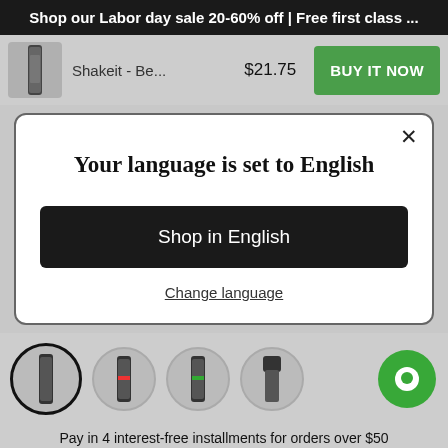Shop our Labor day sale 20-60% off | Free first class ...
[Figure (screenshot): Product bar showing a shaker bottle thumbnail, product name 'Shakeit - Be...', price '$21.75', and a green 'BUY IT NOW' button]
Your language is set to English
Shop in English
Change language
[Figure (screenshot): Four product variant thumbnail images at bottom, first one selected with dark border circle]
Pay in 4 interest-free installments for orders over $50